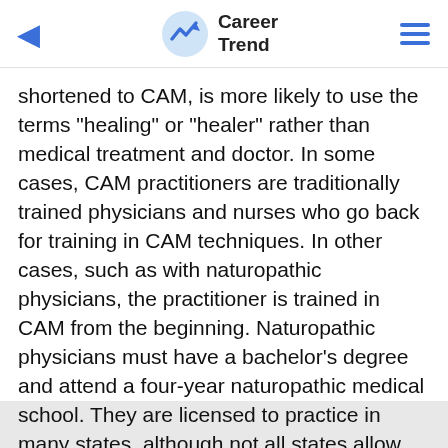Career Trend
shortened to CAM, is more likely to use the terms "healing" or "healer" rather than medical treatment and doctor. In some cases, CAM practitioners are traditionally trained physicians and nurses who go back for training in CAM techniques. In other cases, such as with naturopathic physicians, the practitioner is trained in CAM from the beginning. Naturopathic physicians must have a bachelor’s degree and attend a four-year naturopathic medical school. They are licensed to practice in many states, although not all states allow naturopathic physicians to practice.